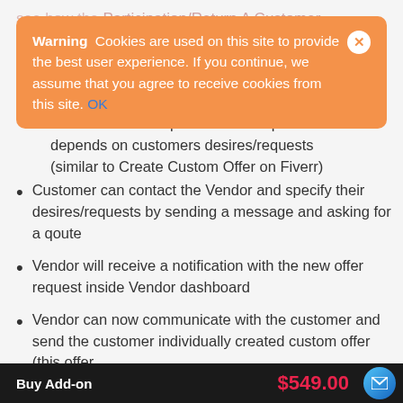[Figure (screenshot): Cookie consent banner overlay on orange background with Warning text, cookie usage notice, OK link, and close button]
of a customizable product and its price depends on customers desires/requests (similar to Create Custom Offer on Fiverr)
Customer can contact the Vendor and specify their desires/requests by sending a message and asking for a qoute
Vendor will receive a notification with the new offer request inside Vendor dashboard
Vendor can now communicate with the customer and send the customer individually created custom offer (this offer
Buy Add-on   $549.00